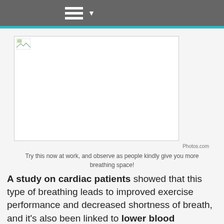≡ ▾
[Figure (photo): A placeholder image (broken image icon visible) within a bordered white rectangle, representing a photo related to cardiac breathing exercise content.]
Photos.com
Try this now at work, and observe as people kindly give you more breathing space!
A study on cardiac patients showed that this type of breathing leads to improved exercise performance and decreased shortness of breath, and it's also been linked to lower blood pressure. This is the reason that so many coaches recommend breathing